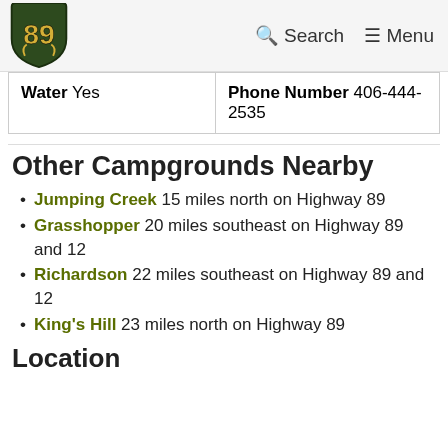89 Search Menu
| Water Yes | Phone Number 406-444-2535 |
Other Campgrounds Nearby
Jumping Creek 15 miles north on Highway 89
Grasshopper 20 miles southeast on Highway 89 and 12
Richardson 22 miles southeast on Highway 89 and 12
King's Hill 23 miles north on Highway 89
Location